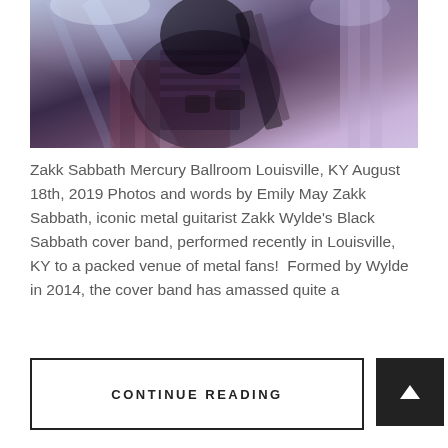[Figure (photo): Concert photo of a metal guitarist (Zakk Wylde) playing guitar on stage, wearing a plaid shirt and striped top, with stage lighting in background]
Zakk Sabbath Mercury Ballroom Louisville, KY August 18th, 2019 Photos and words by Emily May Zakk Sabbath, iconic metal guitarist Zakk Wylde's Black Sabbath cover band, performed recently in Louisville, KY to a packed venue of metal fans!  Formed by Wylde in 2014, the cover band has amassed quite a
CONTINUE READING